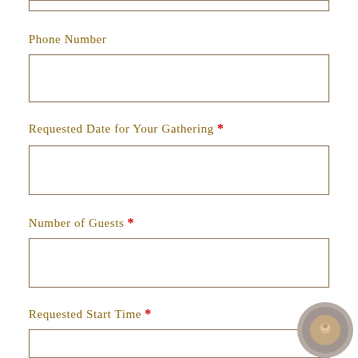Phone Number
Requested Date for Your Gathering *
Number of Guests *
Requested Start Time *